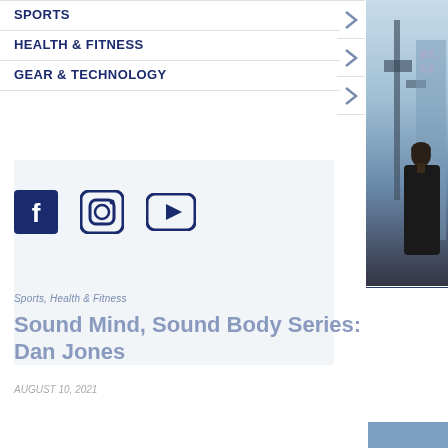SPORTS
HEALTH & FITNESS
GEAR & TECHNOLOGY
[Figure (photo): Person in black top standing outdoors near urban infrastructure, photographed from behind/side]
[Figure (photo): Faded background image with text overlay, social media icons (Facebook, Instagram, YouTube)]
Sports, Health & Fitness
Sound Mind, Sound Body Series: Dan Jones
AUGUST 10, 2021